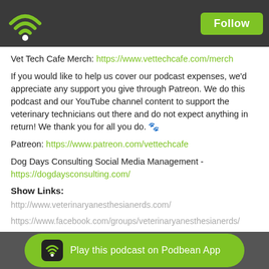Follow
Vet Tech Cafe Merch: https://www.vettechcafe.com/merch
If you would like to help us cover our podcast expenses, we'd appreciate any support you give through Patreon. We do this podcast and our YouTube channel content to support the veterinary technicians out there and do not expect anything in return! We thank you for all you do. 🐾
Patreon: https://www.patreon.com/vettechcafe
Dog Days Consulting Social Media Management - https://dogdaysconsulting.com/
Show Links:
http://www.veterinaryanesthesianerds.com/
https://www.facebook.com/groups/veterinaryanesthesianerds/
Play this podcast on Podbean App